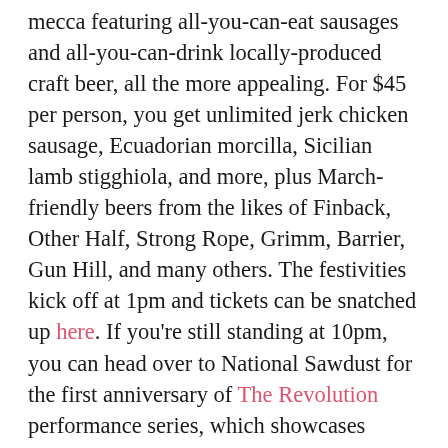mecca featuring all-you-can-eat sausages and all-you-can-drink locally-produced craft beer, all the more appealing. For $45 per person, you get unlimited jerk chicken sausage, Ecuadorian morcilla, Sicilian lamb stigghiola, and more, plus March-friendly beers from the likes of Finback, Other Half, Strong Rope, Grimm, Barrier, Gun Hill, and many others. The festivities kick off at 1pm and tickets can be snatched up here. If you're still standing at 10pm, you can head over to National Sawdust for the first anniversary of The Revolution performance series, which showcases Brooklyn and Harlem based musicians. To celebrate a successful first year of the series, six previous participants will return with live musical performances guaranteed to impress and Braven Brewery will be offering $4 beers all night. Tickets are just $15 if you buy